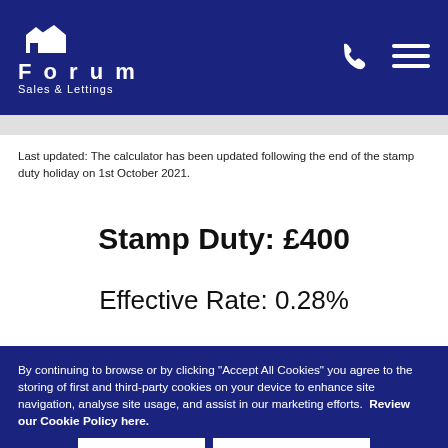Forum Sales & Lettings
Last updated: The calculator has been updated following the end of the stamp duty holiday on 1st October 2021.
Stamp Duty: £400
Effective Rate: 0.28%
By continuing to browse or by clicking "Accept All Cookies" you agree to the storing of first and third-party cookies on your device to enhance site navigation, analyse site usage, and assist in our marketing efforts.  Review our Cookie Policy here.
| Band | Rate | Due |
| --- | --- | --- |
| Above £125,000 to £250,000 | 2% | £400 |
| Above £250,000 to £925,000 | 5% | £0 |